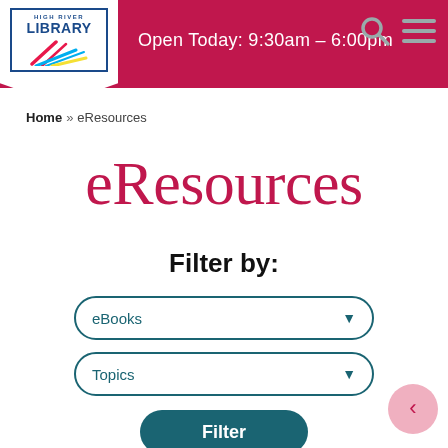High River Library — Open Today: 9:30am - 6:00pm
Home » eResources
eResources
Filter by:
eBooks
Topics
Filter